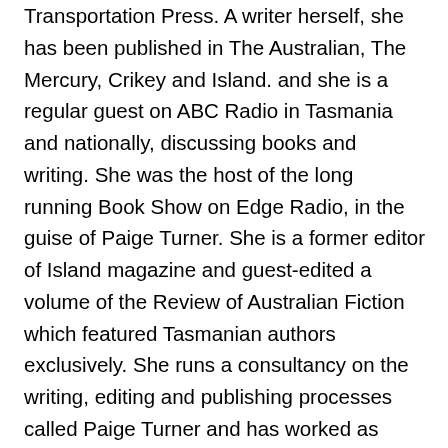Transportation Press. A writer herself, she has been published in The Australian, The Mercury, Crikey and Island. and she is a regular guest on ABC Radio in Tasmania and nationally, discussing books and writing. She was the host of the long running Book Show on Edge Radio, in the guise of Paige Turner. She is a former editor of Island magazine and guest-edited a volume of the Review of Australian Fiction which featured Tasmanian authors exclusively. She runs a consultancy on the writing, editing and publishing processes called Paige Turner and has worked as Writer in Residence with younger onset dementia clients at Alzheimer's Tasmania. She is currently